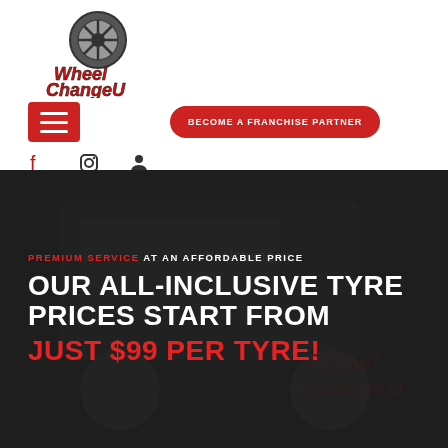[Figure (logo): WheelChangeU logo with a car wheel icon above stylized red and black text reading 'Wheel Change U']
[Figure (infographic): Navigation bar with red hamburger menu button on left and red rounded 'BECOME A FRANCHISE PARTNER' button in center]
[Figure (infographic): Social media icons row: Facebook, Instagram, and person/account icons in dark color]
[Figure (photo): Dark hero background showing a van with 'wheelchangeu' branding and a person working on a wheel/tyre]
PREMIUM SERVICE AT AN AFFORDABLE PRICE
OUR ALL-INCLUSIVE TYRE PRICES START FROM JUST $99 PER TYRE!